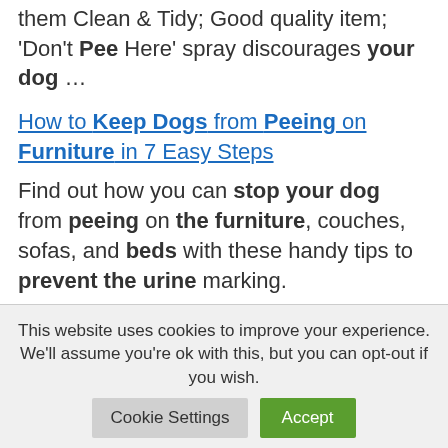them Clean & Tidy; Good quality item; 'Don't Pee Here' spray discourages your dog ...
How to Keep Dogs from Peeing on Furniture in 7 Easy Steps
Find out how you can stop your dog from peeing on the furniture, couches, sofas, and beds with these handy tips to prevent the urine marking.
This website uses cookies to improve your experience. We'll assume you're ok with this, but you can opt-out if you wish.